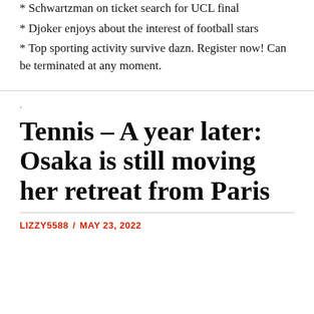* Schwartzman on ticket search for UCL final
* Djoker enjoys about the interest of football stars
* Top sporting activity survive dazn. Register now! Can be terminated at any moment.
.
Tennis – A year later: Osaka is still moving her retreat from Paris
LIZZY5588 / MAY 23, 2022